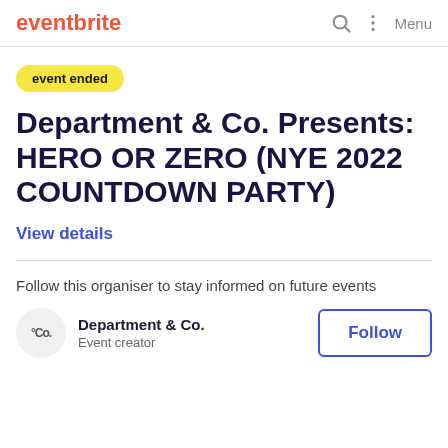eventbrite
event ended
Department & Co. Presents: HERO OR ZERO (NYE 2022 COUNTDOWN PARTY)
View details
Follow this organiser to stay informed on future events
Department & Co. Event creator
Follow